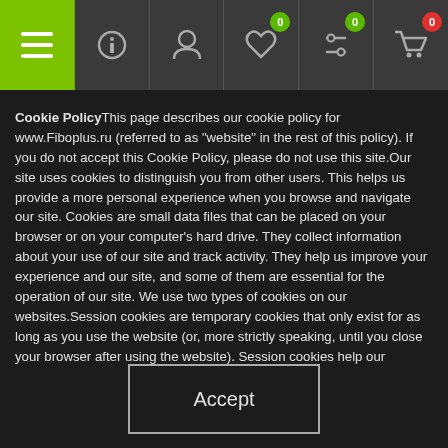Navigation bar with menu, info, account, favorites (0), filters (0), cart (0)
Cookie PolicyThis page describes our cookie policy for www.Fiboplus.ru (referred to as “website” in the rest of this policy). If you do not accept this Cookie Policy, please do not use this site.Our site uses cookies to distinguish you from other users. This helps us provide a more personal experience when you browse and navigate our site. Cookies are small data files that can be placed on your browser or on your computer’s hard drive. They collect information about your use of our site and track activity. They help us improve your experience and our site, and some of them are essential for the operation of our site. We use two types of cookies on our websites.Session cookies are temporary cookies that only exist for as long as you use the website (or, more strictly speaking, until you close your browser after using the website). Session cookies help our websites remember what you have selected on the previous page, avoiding the need to re-enter information.Persistent cookies remain on your device after you visit our website.
Accept